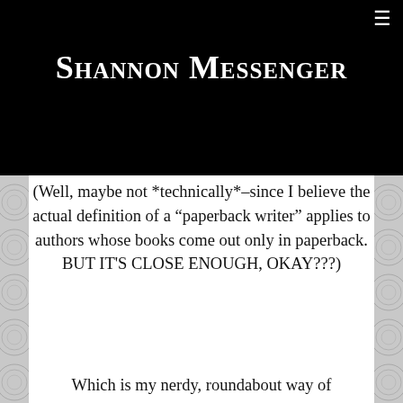Shannon Messenger
(Well, maybe not *technically*–since I believe the actual definition of a “paperback writer” applies to authors whose books come out only in paperback. BUT IT'S CLOSE ENOUGH, OKAY???)
Which is my nerdy, roundabout way of